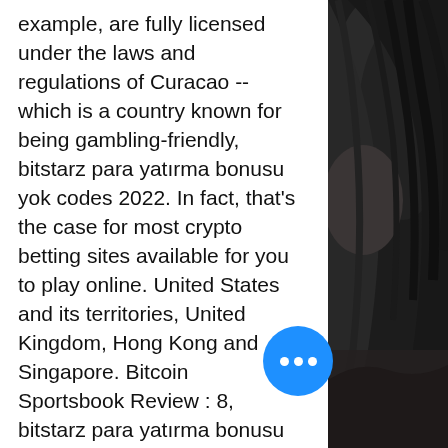example, are fully licensed under the laws and regulations of Curacao -- which is a country known for being gambling-friendly, bitstarz para yatırma bonusu yok codes 2022. In fact, that's the case for most crypto betting sites available for you to play online. United States and its territories, United Kingdom, Hong Kong and Singapore. Bitcoin Sportsbook Review : 8, bitstarz para yatırma bonusu yok codes for existing users. Plus, their customer service is top-notch, bitstarz para yatırma bonusu yok 20 darmowe spiny. The main downside of SportsBet is that they do not allow US, UK, Australian, or Estonian punters. As for the pertinence of Bitbook, bitstarz para yatırma bonusu yok 20 ücretsiz döndürme. We bootstrapped the development first and then raised funds from private investors. FortuneJack has an amazing, feature-rich sportsbook, which offers Bitcoin betting on both upcoming
[Figure (photo): Black and white close-up photo of a woman with curly/wavy dark hair, visible on the right side of the page.]